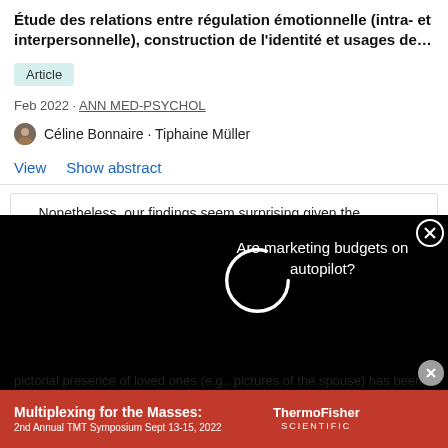Étude des relations entre régulation émotionnelle (intra- et interpersonnelle), construction de l'identité et usages de…
Article
Feb 2022 · ANN MED-PSYCHOL
Céline Bonnaire · Tiphaine Müller
View   Show abstract
... Nonetheless, our findings seem surprising given the
[Figure (screenshot): Dark overlay with loading spinner circle and ad text 'Are marketing budgets on autopilot?' with close button]
pictorial presence of loved ones (e.g., pictures of the spouse) has been hypothesized to activate a mental representation of that person, resulting in reduced pain
[Figure (screenshot): Red advertisement banner: 'Multiplexing for the Masses: 2nd Annual TMT Symposium Sept 13-15, 2022' with ThermoFisher Scientific logo]